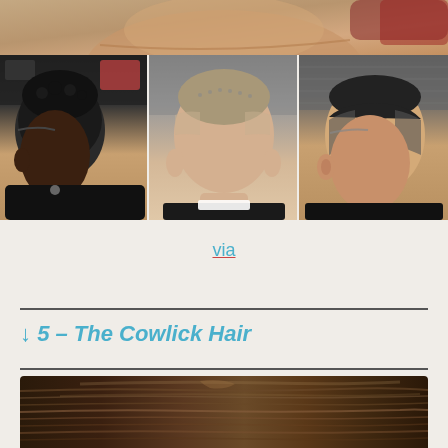[Figure (photo): Collage of men's haircut photos: top banner showing close-up of a person's neck/side profile, and three side-by-side photos below showing different men's fade haircuts - left shows a Black man with a low fade, middle shows a man with a buzz cut from behind, right shows a younger man with a tapered fade]
via
↓ 5 – The Cowlick Hair
[Figure (photo): Bottom portion of a photo showing a man's hair styled with a cowlick, dark brown hair combed to the side, viewed from above/behind]